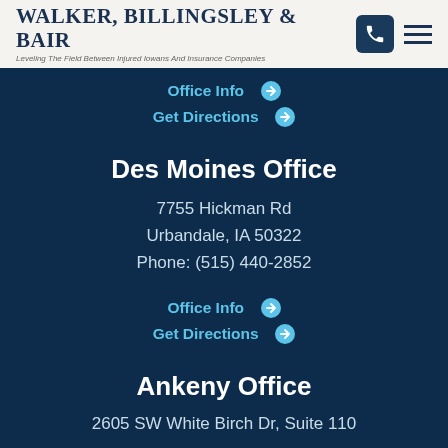Walker, Billingsley & Bair — Leveling The Field Between Injured Iowans And Insurance Companies
Office Info →
Get Directions →
Des Moines Office
7755 Hickman Rd
Urbandale, IA 50322
Phone: (515) 440-2852
Office Info →
Get Directions →
Ankeny Office
2605 SW White Birch Dr, Suite 110